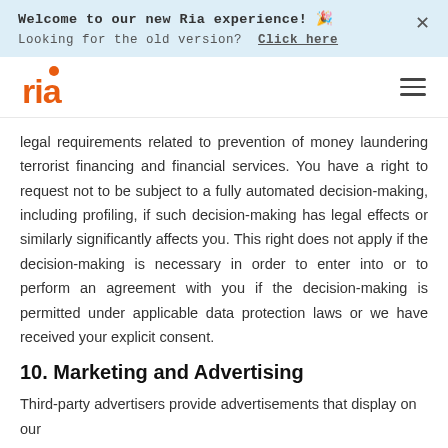Welcome to our new Ria experience! 🎉
Looking for the old version? Click here
[Figure (logo): Ria logo in orange with hamburger menu icon]
legal requirements related to prevention of money laundering terrorist financing and financial services. You have a right to request not to be subject to a fully automated decision-making, including profiling, if such decision-making has legal effects or similarly significantly affects you. This right does not apply if the decision-making is necessary in order to enter into or to perform an agreement with you if the decision-making is permitted under applicable data protection laws or we have received your explicit consent.
10. Marketing and Advertising
Third-party advertisers provide advertisements that display on our